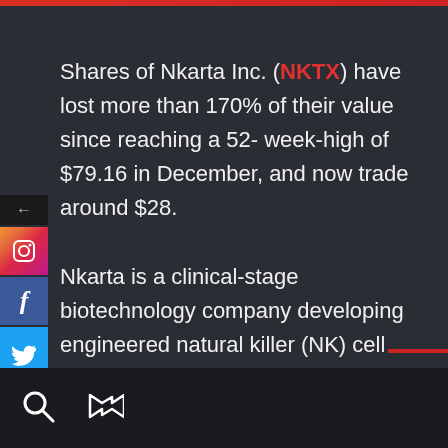Shares of Nkarta Inc. (NKTX) have lost more than 170% of their value since reaching a 52-week-high of $79.16 in December, and now trade around $28. Nkarta is a clinical-stage biotechnology company developing engineered natural killer (NK) cell therapies to treat cancer. The company went public on the Nasdaq Global
[Figure (other): Social media sharing sidebar with Instagram, Facebook, and Twitter icons, plus a back arrow button]